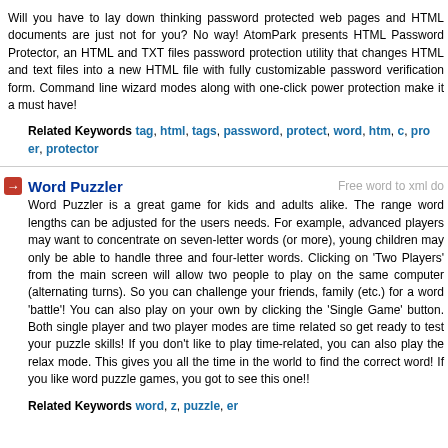Will you have to lay down thinking password protected web pages and HTML documents are just not for you? No way! AtomPark presents HTML Password Protector, an HTML and TXT files password protection utility that changes HTML and text files into a new HTML file with fully customizable password verification form. Command line and wizard modes along with one-click power protection make it a must have!
Related Keywords tag, html, tags, password, protect, word, htm, c, protector
Word Puzzler
Free word to xml do...
Word Puzzler is a great game for kids and adults alike. The range of word lengths can be adjusted for the users needs. For example, advanced players may want to concentrate on seven-letter words (or more), young children may only be able to handle three and four-letter words. Clicking on 'Two Players' from the main screen will allow two people to play on the same computer (alternating turns). So you can challenge your friends, family (etc.) for a word 'battle'! You can also play on your own by clicking the 'Single Game' button. Both single player and two player modes are time related so get ready to test your puzzle skills! If you don't like to play time-related, you can also play the relax mode. This gives you all the time in the world to find the correct word! If you like word puzzle games, you got to see this one!!
Related Keywords word, z, puzzle, er